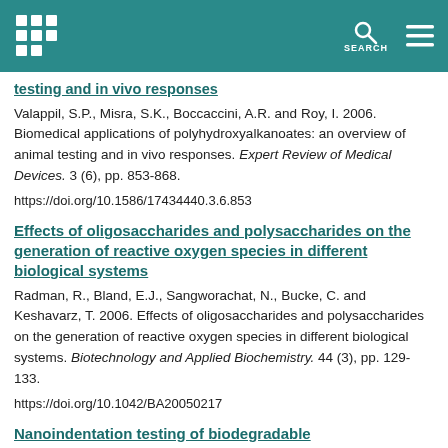testing and in vivo responses
Valappil, S.P., Misra, S.K., Boccaccini, A.R. and Roy, I. 2006. Biomedical applications of polyhydroxyalkanoates: an overview of animal testing and in vivo responses. Expert Review of Medical Devices. 3 (6), pp. 853-868.
https://doi.org/10.1586/17434440.3.6.853
Effects of oligosaccharides and polysaccharides on the generation of reactive oxygen species in different biological systems
Radman, R., Bland, E.J., Sangworachat, N., Bucke, C. and Keshavarz, T. 2006. Effects of oligosaccharides and polysaccharides on the generation of reactive oxygen species in different biological systems. Biotechnology and Applied Biochemistry. 44 (3), pp. 129-133.
https://doi.org/10.1042/BA20050217
Nanoindentation testing of biodegradable